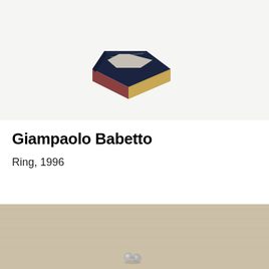[Figure (photo): Photograph of a geometric ring by Giampaolo Babetto, 1996. The ring appears as an angular, box-like form with dark navy blue top edge, a golden/brass-colored exterior side, and a reddish-brown interior side, photographed against a light gray/white background.]
Giampaolo Babetto
Ring, 1996
[Figure (photo): Partial photograph of another jewelry piece against a warm beige/linen textured background. Small metallic silver object visible at bottom center of frame, appears to be a small ring or brooch with rounded forms.]